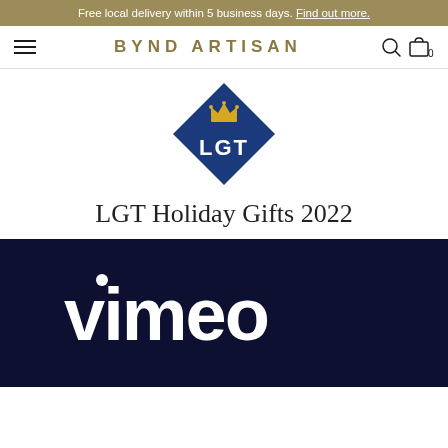Free local delivery within 5 business days. Find out more.
BYND ARTISAN
[Figure (logo): LGT diamond logo with crown and text LGT in white on dark blue diamond]
LGT Holiday Gifts 2022
[Figure (screenshot): Dark navy background with Vimeo logo in white text]